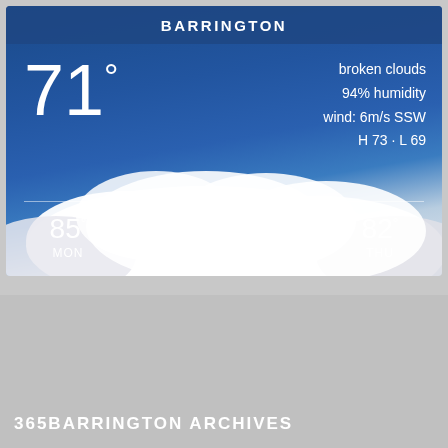[Figure (screenshot): Weather widget for Barrington showing current temperature 71°F with broken clouds, 94% humidity, wind 6m/s SSW, H 73 L 69, and 4-day forecast: MON 85°, TUE 75°, WED 80°, THU 82°. Background shows blue sky with white clouds.]
365BARRINGTON ARCHIVES